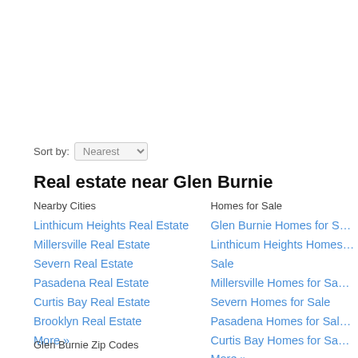Sort by: Nearest
Real estate near Glen Burnie
Nearby Cities
Linthicum Heights Real Estate
Millersville Real Estate
Severn Real Estate
Pasadena Real Estate
Curtis Bay Real Estate
Brooklyn Real Estate
More »
Homes for Sale
Glen Burnie Homes for Sale
Linthicum Heights Homes for Sale
Millersville Homes for Sale
Severn Homes for Sale
Pasadena Homes for Sale
Curtis Bay Homes for Sale
More »
Glen Burnie Zip Codes